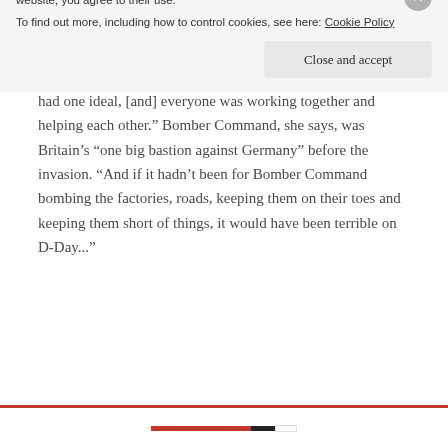Ritch
“It was the best days of our lives,” Jean says now of her service. “The majority of people were all pulling together, we had one ideal, [and] everyone was working together and helping each other.” Bomber Command, she says, was Britain’s “one big bastion against Germany” before the invasion. “And if it hadn’t been for Bomber Command bombing the factories, roads, keeping them on their toes and keeping them short of things, it would have been terrible on D-Day...”
Privacy & Cookies: This site uses cookies. By continuing to use this website, you agree to their use.
To find out more, including how to control cookies, see here: Cookie Policy